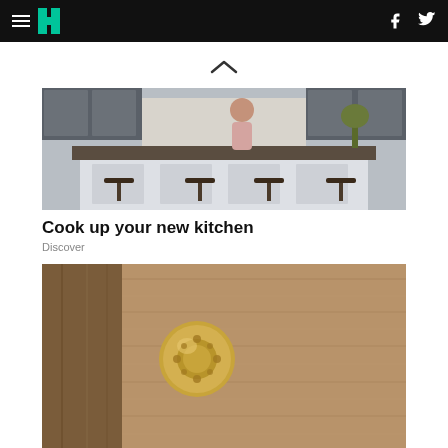HuffPost navigation with hamburger menu, logo, Facebook and Twitter icons
[Figure (photo): Upward chevron / caret symbol indicating collapse or scroll up]
[Figure (photo): Kitchen with large island, bar stools, woman holding a baby, gray cabinets and pendant lights]
Cook up your new kitchen
Discover
[Figure (photo): Close-up of an ornate brass or gold door knob on a textured wooden door]